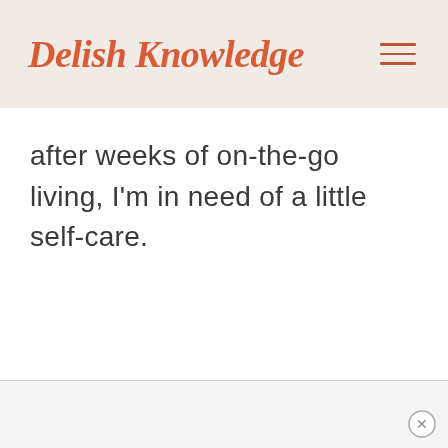Delish Knowledge
after weeks of on-the-go living, I'm in need of a little self-care.